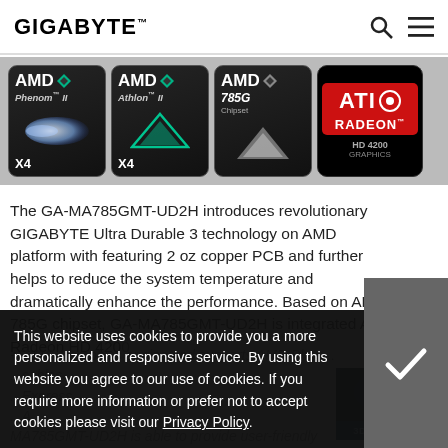GIGABYTE
[Figure (logo): AMD Phenom II X4, AMD Athlon II X4, AMD 785G Chipset, and ATI Radeon HD 4200 Graphics badges on dark background strip]
The GA-MA785GMT-UD2H introduces revolutionary GIGABYTE Ultra Durable 3 technology on AMD platform with featuring 2 oz copper PCB and further helps to reduce the system temperature and dramatically enhance the performance. Based on AMD 785G chipset, GA-MA785GMT-UD2H is integrated ATI Radeon HD 4200 DirectX10.1 graphics engine and supports AMD Phenom II ... Express ... A ... MA785GMT-UD2H is able to provide user-friendly
This website uses cookies to provide you a more personalized and responsive service. By using this website you agree to our use of cookies. If you require more information or prefer not to accept cookies please visit our Privacy Policy.